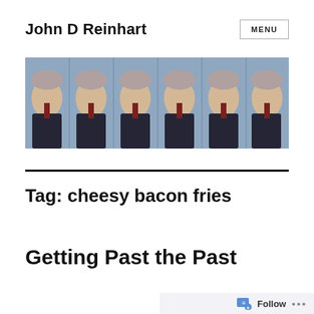John D Reinhart
[Figure (photo): Banner image showing a repeated tiled portrait of a man in a suit and tie against a blue background, appearing 6+ times across the width]
Tag: cheesy bacon fries
Getting Past the Past
Follow ...